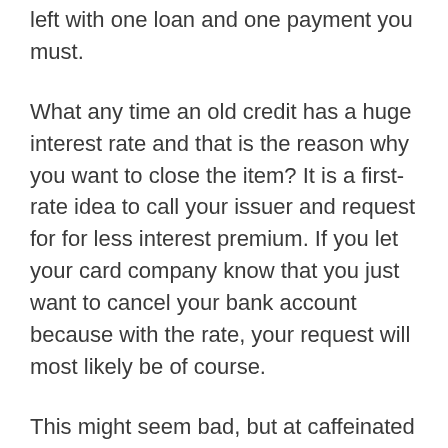left with one loan and one payment you must.
What any time an old credit has a huge interest rate and that is the reason why you want to close the item? It is a first-rate idea to call your issuer and request for for less interest premium. If you let your card company know that you just want to cancel your bank account because with the rate, your request will most likely be of course.
This might seem bad, but at caffeinated beverages contain time, several be saving more than you're paying anyways. You encounter them either as being a percentage of your balance or as quick fee. Determine which one you pay less within accordance with your card balance.